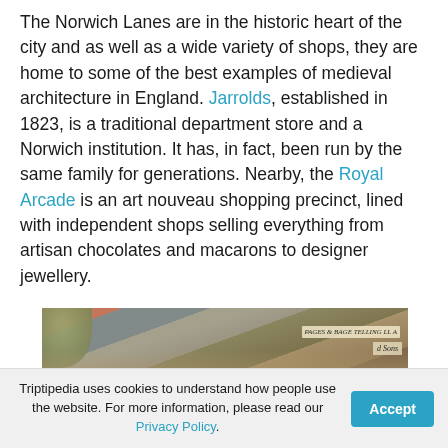The Norwich Lanes are in the historic heart of the city and as well as a wide variety of shops, they are home to some of the best examples of medieval architecture in England. Jarrolds, established in 1823, is a traditional department store and a Norwich institution. It has, in fact, been run by the same family for generations. Nearby, the Royal Arcade is an art nouveau shopping precinct, lined with independent shops selling everything from artisan chocolates and macarons to designer jewellery.
[Figure (photo): Outdoor market scene with large beige/tan canvas umbrellas or awnings, colorful stall decorations, and a sign reading 'and Sons' visible in the background.]
Triptipedia uses cookies to understand how people use the website. For more information, please read our Privacy Policy.